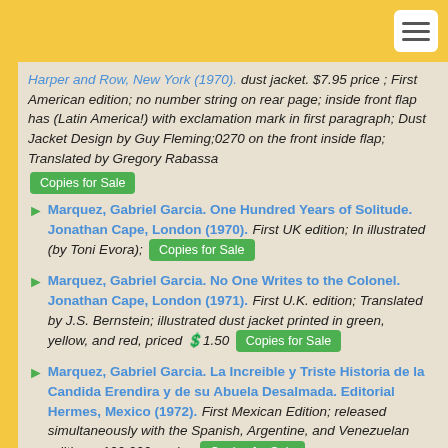Harper and Row, New York (1970). dust jacket. $7.95 price ; First American edition; no number string on rear page; inside front flap has (Latin America!) with exclamation mark in first paragraph; Dust Jacket Design by Guy Fleming;0270 on the front inside flap; Translated by Gregory Rabassa
Marquez, Gabriel Garcia. One Hundred Years of Solitude. Jonathan Cape, London (1970). First UK edition; In illustrated (by Toni Evora);
Marquez, Gabriel Garcia. No One Writes to the Colonel. Jonathan Cape, London (1971). First U.K. edition; Translated by J.S. Bernstein; illustrated dust jacket printed in green, yellow, and red, priced £1.50
Marquez, Gabriel Garcia. La Increible y Triste Historia de la Candida Erendira y de su Abuela Desalmada. Editorial Hermes, Mexico (1972). First Mexican Edition; released simultaneously with the Spanish, Argentine, and Venezuelan editions; 100,000 copies